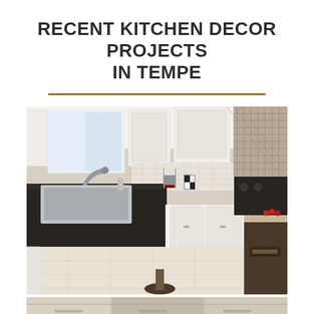RECENT KITCHEN DECOR PROJECTS IN TEMPE
[Figure (photo): Modern kitchen with white cabinets, black granite countertops, stainless steel farmhouse sink, subway tile backsplash, herringbone tile accent wall, and dark wood island. Stainless faucet, blender on counter, checkered canisters visible.]
[Figure (photo): Bottom strip of another kitchen photo partially visible at the bottom of the page.]